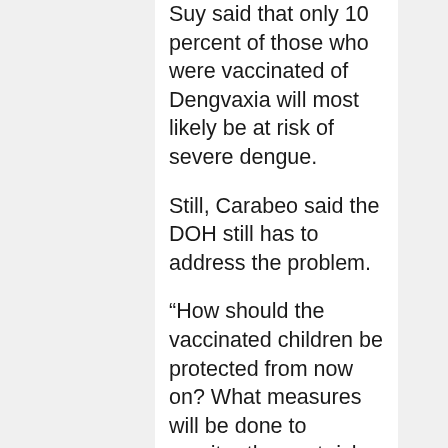Suy said that only 10 percent of those who were vaccinated of Dengvaxia will most likely be at risk of severe dengue.
Still, Carabeo said the DOH still has to address the problem.
“How should the vaccinated children be protected from now on? What measures will be done to monitor those at risk and provide them with the means of proper healthcare to mitigate the risk?” he said.